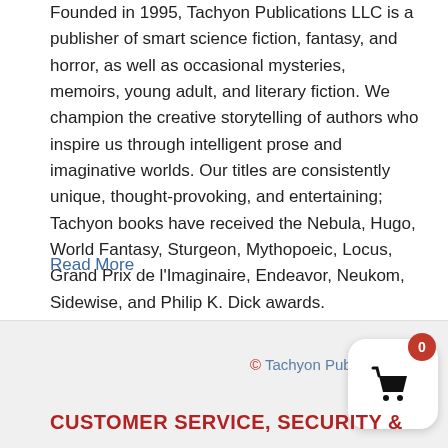Founded in 1995, Tachyon Publications LLC is a publisher of smart science fiction, fantasy, and horror, as well as occasional mysteries, memoirs, young adult, and literary fiction. We champion the creative storytelling of authors who inspire us through intelligent prose and imaginative worlds. Our titles are consistently unique, thought-provoking, and entertaining; Tachyon books have received the Nebula, Hugo, World Fantasy, Sturgeon, Mythopoeic, Locus, Grand Prix de l'Imaginaire, Endeavor, Neukom, Sidewise, and Philip K. Dick awards.
Read More
© Tachyon Publications
CUSTOMER SERVICE, SECURITY &